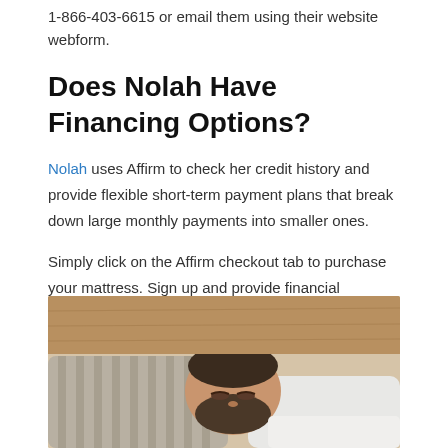1-866-403-6615 or email them using their website webform.
Does Nolah Have Financing Options?
Nolah uses Affirm to check her credit history and provide flexible short-term payment plans that break down large monthly payments into smaller ones.
Simply click on the Affirm checkout tab to purchase your mattress. Sign up and provide financial information regarding your credit card. Once approved, you can see how much you'll pay monthly and your interest rate for the entire purchase.
[Figure (photo): A bearded man sleeping on a striped pillow with a white blanket, resting on a wooden surface.]